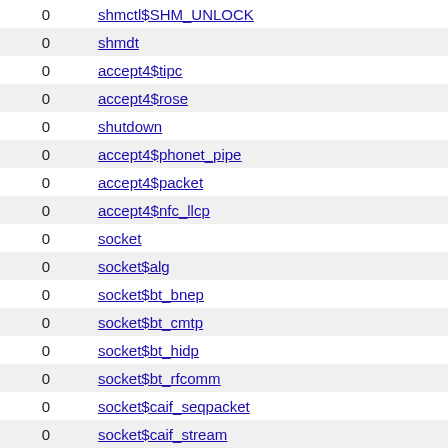| 0 | shmctl$SHM_UNLOCK |
| 0 | shmdt |
| 0 | accept4$tipc |
| 0 | accept4$rose |
| 0 | shutdown |
| 0 | accept4$phonet_pipe |
| 0 | accept4$packet |
| 0 | accept4$nfc_llcp |
| 0 | socket |
| 0 | socket$alg |
| 0 | socket$bt_bnep |
| 0 | socket$bt_cmtp |
| 0 | socket$bt_hidp |
| 0 | socket$bt_rfcomm |
| 0 | socket$caif_seqpacket |
| 0 | socket$caif_stream |
| 0 | socket$can_bcm |
| 0 | socket$can_j1939 |
| 0 | socket$can_raw |
| 0 | socket$hf |
| 0 | socket$inet |